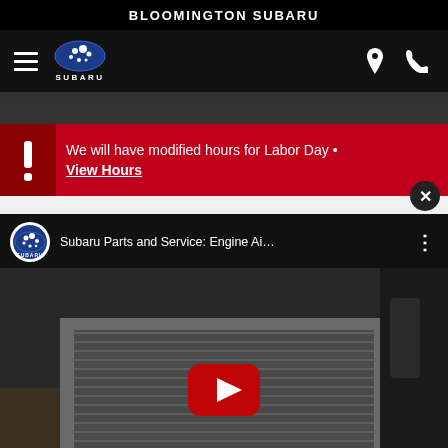BLOOMINGTON SUBARU
[Figure (screenshot): Mobile website navigation bar with hamburger menu, Subaru logo, location pin icon, and phone icon on black background]
We will have modified hours for Labor Day • View Hours
[Figure (screenshot): Cropped photo of a car engine/service area, dark background]
[Figure (screenshot): YouTube video embed for 'Subaru Parts and Service: Engine Ai...' showing a person holding an engine air filter, with YouTube play button overlay and Subaru channel icon]